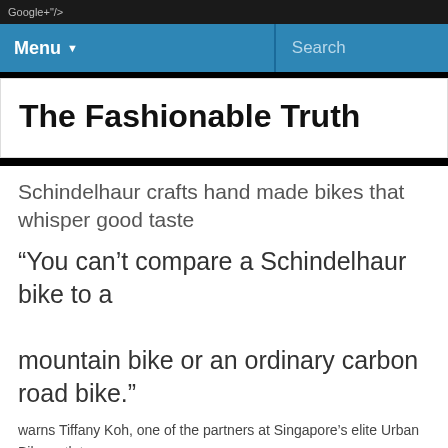Google+"/>
Menu  Search
The Fashionable Truth
Schindelhaur crafts hand made bikes that whisper good taste
“You can’t compare a Schindelhaur bike to a mountain bike or an ordinary carbon road bike.”
warns Tiffany Koh, one of the partners at Singapore’s elite Urban Bike outlet.
“They’re not competitive bikes, either. They’re not going to win you first place in the race. Schindelhaur individually craft lifestyle transport for the 21st century city. A Schindelhaur bike is a taste statement.”